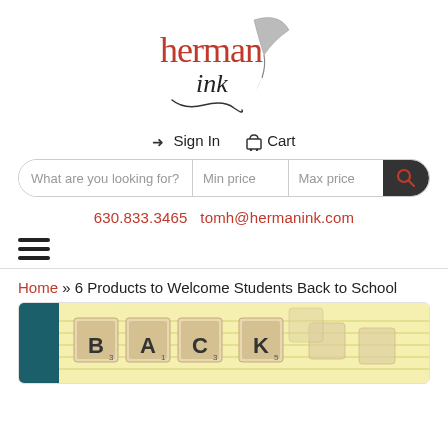[Figure (logo): Herman Ink logo with stylized quill pen and script text]
➜ Sign In  🛒 Cart
What are you looking for?  Min price  Max price [search button]
630.833.3465  tomh@hermanink.com
[Figure (other): Hamburger menu icon (three horizontal lines)]
Home » 6 Products to Welcome Students Back to School
[Figure (photo): Photo of Scrabble tiles spelling BACK on lined yellow notepad paper]